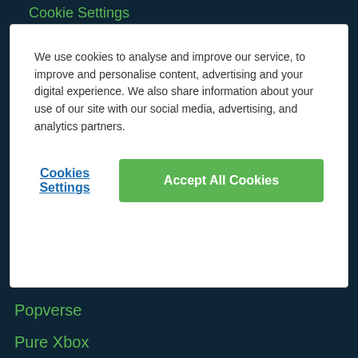Cookie Settings
We use cookies to analyse and improve our service, to improve and personalise content, advertising and your digital experience. We also share information about your use of our site with our social media, advertising, and analytics partners.
Cookies Settings
Accept All Cookies
Popverse
Pure Xbox
Push Square
Rock Paper Shotgun
The Haul
VG247
VGC